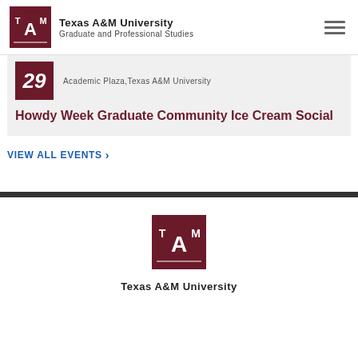Texas A&M University — Graduate and Professional Studies
[Figure (logo): Texas A&M University ATM logo, maroon square with white ATM letters]
29  Academic Plaza, Texas A&M University
Howdy Week Graduate Community Ice Cream Social
VIEW ALL EVENTS >
[Figure (logo): Texas A&M University ATM logo, maroon square with white ATM letters (footer)]
Texas A&M University